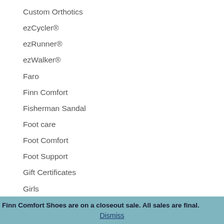Custom Orthotics
ezCycler®
ezRunner®
ezWalker®
Faro
Finn Comfort
Fisherman Sandal
Foot care
Foot Comfort
Foot Support
Gift Certificates
Girls
Gomera
Finn Comfort Shoes are on a closeout sale. All sales are final.
Dismiss